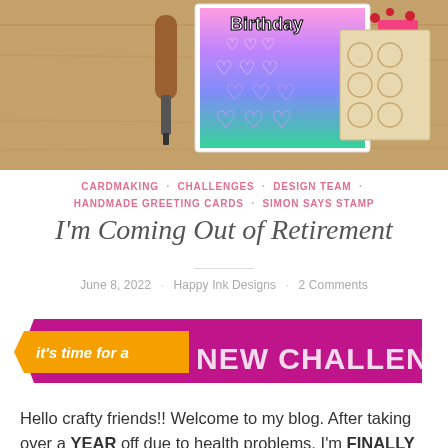[Figure (photo): Photo showing a colorful birthday card with rainbow gradient background and glitter hearts, alongside crafting tools including a wooden-handled tool, a pink card, and a heart-patterned stencil, all on a wooden surface.]
CARDMAKING · CHALLENGES · DESIGN TEAM · HANDMADE GREETING CARDS · SIMON SAYS STAMP
I'm Coming Out of Retirement
June 8, 2022 · Happy Ink Designs · 2 Comments
[Figure (infographic): Banner graphic with purple/magenta background ribbon shape. Orange banner on left reads 'it's time for a' in white italic text. Right side reads 'NEW CHALLENGE!' in large white outlined letters.]
Hello crafty friends!! Welcome to my blog. After taking over a YEAR off due to health problems, I'm FINALLY back in my craft room!! Please join me for a new challenge